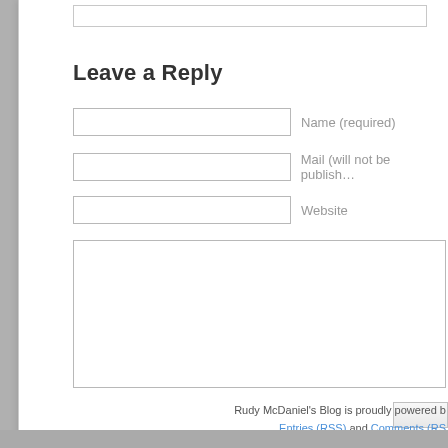Leave a Reply
Name (required)
Mail (will not be published)
Website
Rudy McDaniel's Blog is proudly powered b… Entries (RSS) and Comments (RS…